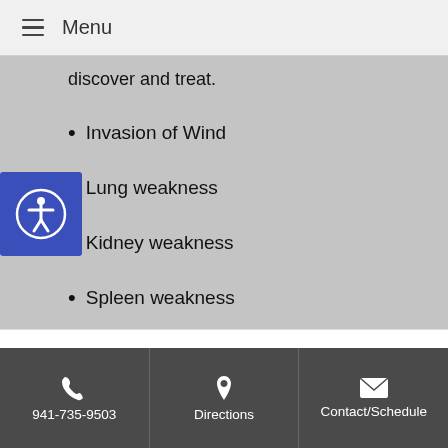Menu
discover and treat.
Invasion of Wind
Lung weakness
Kidney weakness
Spleen weakness
Liver imbalance
Liver Heat
Wei Qi deficiency
Phlegm/damp in the Lungs
941-735-9503 | Directions | Contact/Schedule